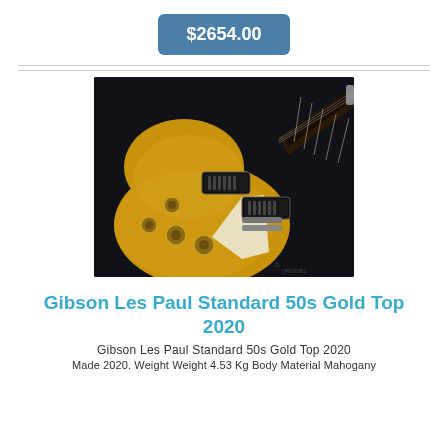$2654.00
[Figure (photo): Gibson Les Paul Standard 50s Gold Top electric guitar with gold metallic finish, two humbuckers, cream pickguard, and black fretboard, photographed against a dark background.]
Gibson Les Paul Standard 50s Gold Top 2020
Gibson Les Paul Standard 50s Gold Top 2020
Made 2020. Weight Weight 4.53 Kg Body Material Mahogany